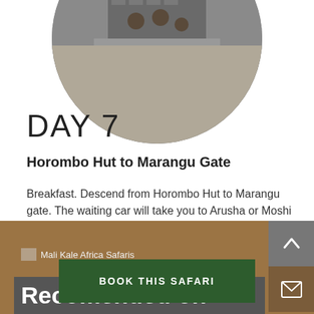[Figure (photo): Circular cropped photo showing people near a gate entrance on a driveway, top portion of the page]
DAY 7
Horombo Hut to Marangu Gate
Breakfast. Descend from Horombo Hut to Marangu gate. The waiting car will take you to Arusha or Moshi for extension.
BOOK THIS SAFARI
[Figure (logo): Mali Kale Africa Safaris logo/text in footer brown section]
Recomended on